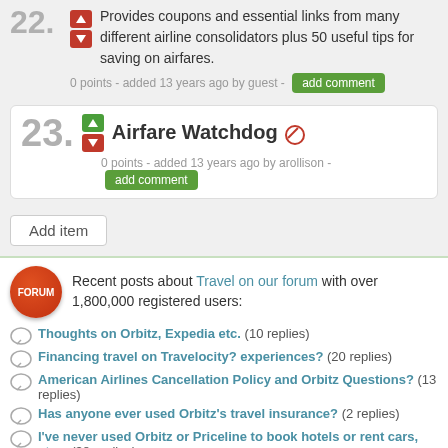22. Provides coupons and essential links from many different airline consolidators plus 50 useful tips for saving on airfares.
0 points - added 13 years ago by guest - add comment
23. Airfare Watchdog
0 points - added 13 years ago by arollison - add comment
Add item
Recent posts about Travel on our forum with over 1,800,000 registered users:
Thoughts on Orbitz, Expedia etc. (10 replies)
Financing travel on Travelocity? experiences? (20 replies)
American Airlines Cancellation Policy and Orbitz Questions? (13 replies)
Has anyone ever used Orbitz's travel insurance? (2 replies)
I've never used Orbitz or Priceline to book hotels or rent cars, etc... (38 replies)
Booking flights w complex itineraries on Orbitz or other ... (12 replies)
SIMILAR TOP LISTS